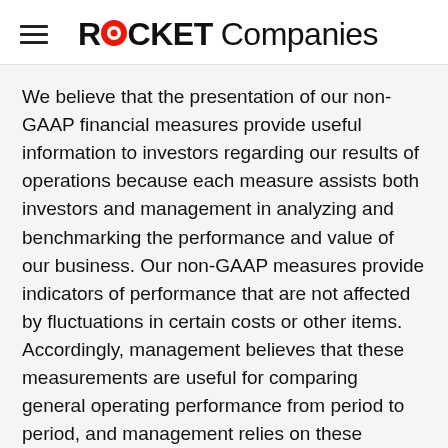ROCKET Companies
We believe that the presentation of our non-GAAP financial measures provide useful information to investors regarding our results of operations because each measure assists both investors and management in analyzing and benchmarking the performance and value of our business. Our non-GAAP measures provide indicators of performance that are not affected by fluctuations in certain costs or other items. Accordingly, management believes that these measurements are useful for comparing general operating performance from period to period, and management relies on these measures for planning and forecasting of future periods. Additionally, these measures allow management compare our results with those of other companies that have different financing and capital structures